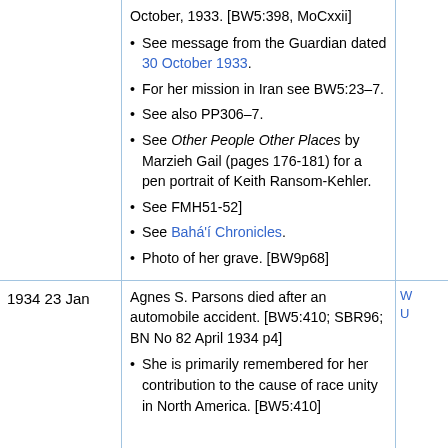| Date | Content | Links |
| --- | --- | --- |
|  | October, 1933. [BW5:398, MoCxxii]
• See message from the Guardian dated 30 October 1933.
• For her mission in Iran see BW5:23–7.
• See also PP306–7.
• See Other People Other Places by Marzieh Gail (pages 176-181) for a pen portrait of Keith Ransom-Kehler.
• See FMH51-52]
• See Bahá'í Chronicles.
• Photo of her grave. [BW9p68] |  |
| 1934 23 Jan | Agnes S. Parsons died after an automobile accident. [BW5:410; SBR96; BN No 82 April 1934 p4]
• She is primarily remembered for her contribution to the cause of race unity in North America. [BW5:410] | W U |